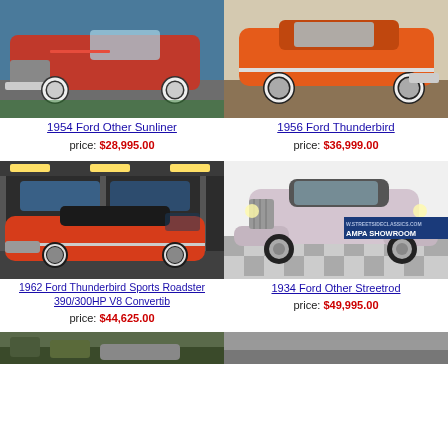[Figure (photo): 1954 Ford Other Sunliner - red classic car, front/side view outdoors on gravel]
[Figure (photo): 1956 Ford Thunderbird - orange classic car, side view indoors]
1954 Ford Other Sunliner price: $28,995.00
1956 Ford Thunderbird price: $36,999.00
[Figure (photo): 1962 Ford Thunderbird Sports Roadster 390/300HP V8 Convertib - red convertible in multi-level parking/showroom]
[Figure (photo): 1934 Ford Other Streetrod - white/silver classic streetrod in showroom with Streetside Classics Tampa Showroom banner]
1962 Ford Thunderbird Sports Roadster 390/300HP V8 Convertib price: $44,625.00
1934 Ford Other Streetrod price: $49,995.00
[Figure (photo): Partial photo of another classic car at bottom left]
[Figure (photo): Partial photo at bottom right (cut off)]